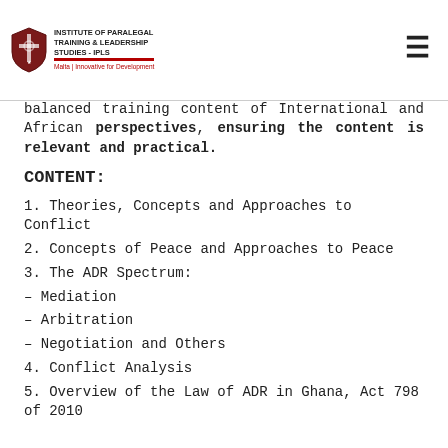Institute of Paralegal Training & Leadership Studies - IPLS
balanced training content of International and African perspectives, ensuring the content is relevant and practical.
CONTENT:
1. Theories, Concepts and Approaches to Conflict
2. Concepts of Peace and Approaches to Peace
3. The ADR Spectrum:
– Mediation
– Arbitration
– Negotiation and Others
4. Conflict Analysis
5. Overview of the Law of ADR in Ghana, Act 798 of 2010